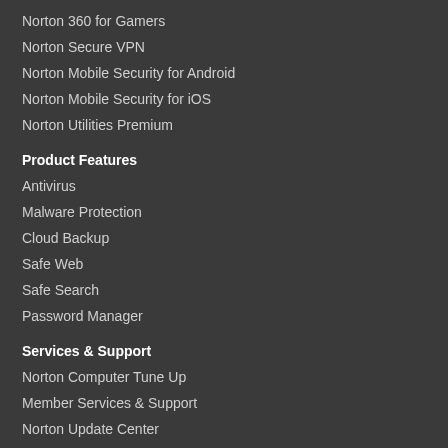Norton 360 for Gamers
Norton Secure VPN
Norton Mobile Security for Android
Norton Mobile Security for iOS
Norton Utilities Premium
Product Features
Antivirus
Malware Protection
Cloud Backup
Safe Web
Safe Search
Password Manager
Services & Support
Norton Computer Tune Up
Member Services & Support
Norton Update Center
How to Renew